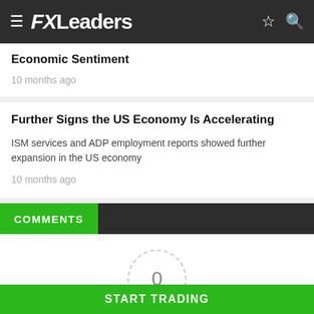FXLeaders
Economic Sentiment
10 months ago
Further Signs the US Economy Is Accelerating
ISM services and ADP employment reports showed further expansion in the US economy
10 months ago
COMMENTS
0
START TRADING